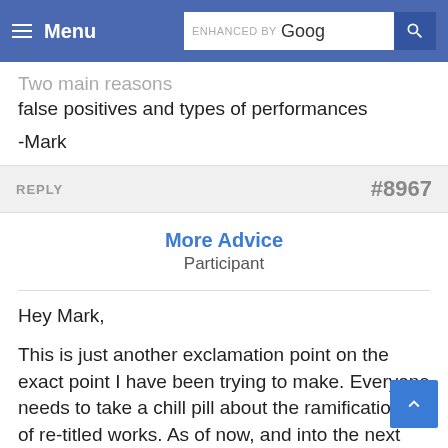Menu | ENHANCED BY Goog [search]
Two main reasons false positives and types of performances

-Mark
REPLY   #8967
More Advice
Participant
Hey Mark,

This is just another exclamation point on the exact point I have been trying to make. Everyone needs to take a chill pill about the ramifications of re-titled works. As of now, and into the next few years, nothing is going to change in my opinion and frankly I am not worried about 2 years from now. I focus on the